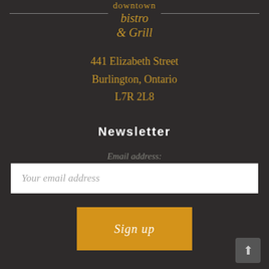[Figure (logo): Downtown Bistro & Grill logo with decorative horizontal lines on either side]
441 Elizabeth Street
Burlington, Ontario
L7R 2L8
Newsletter
Email address:
Your email address
Sign up